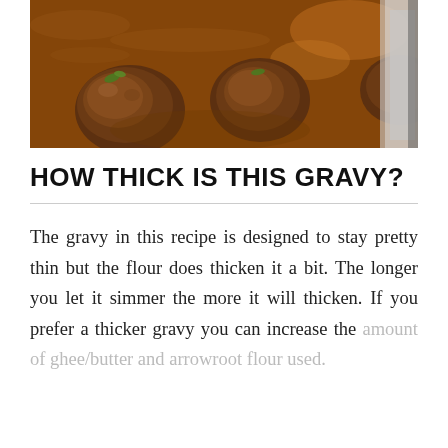[Figure (photo): Close-up photo of meatballs in a dark brown gravy/sauce in a pan, garnished with green herbs]
HOW THICK IS THIS GRAVY?
The gravy in this recipe is designed to stay pretty thin but the flour does thicken it a bit. The longer you let it simmer the more it will thicken. If you prefer a thicker gravy you can increase the amount of ghee/butter and arrowroot flour used.